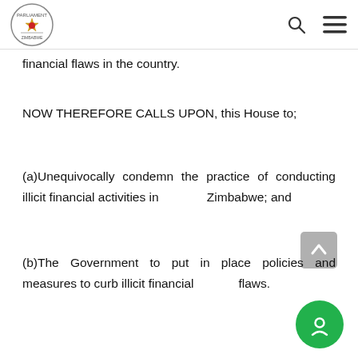Parliament of Zimbabwe header with logo, search icon, and menu icon
financial flaws in the country.
NOW THEREFORE CALLS UPON, this House to;
(a)Unequivocally condemn the practice of conducting illicit financial activities in Zimbabwe; and
(b)The Government to put in place policies and measures to curb illicit financial flaws.